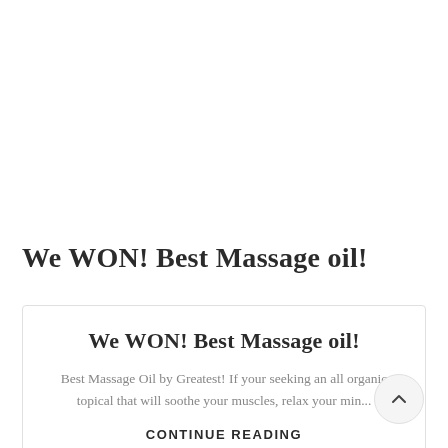We WON! Best Massage oil!
We WON! Best Massage oil!
Best Massage Oil by Greatest! If your seeking an all organic topical that will soothe your muscles, relax your min...
CONTINUE READING